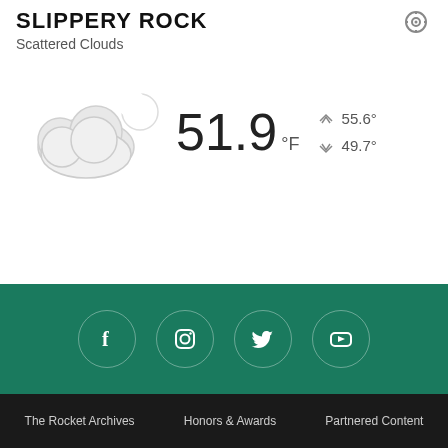SLIPPERY ROCK
Scattered Clouds
[Figure (infographic): Weather widget showing 51.9°F with scattered clouds icon, high 55.6°, low 49.7°, humidity 97%, wind 0.8mph, cloud cover 30%]
| THU | FRI | SAT | SUN | MON |
| --- | --- | --- | --- | --- |
| 78° | 82° | 84° | 73° | 72° |
[Figure (infographic): Social media icons: Facebook, Instagram, Twitter, YouTube on green background]
The Rocket Archives   Honors & Awards   Partnered Content